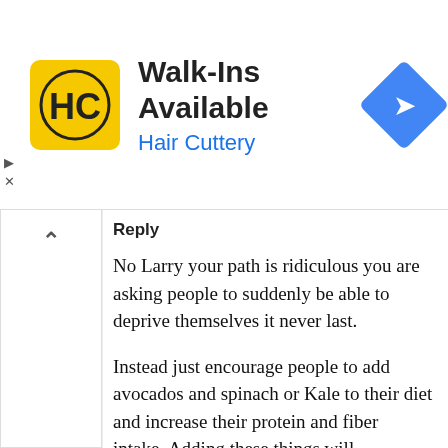[Figure (logo): Hair Cuttery advertisement banner with HC logo, 'Walk-Ins Available' text, and a blue navigation diamond icon. Ad controls (play and close) on the left side.]
Reply
No Larry your path is ridiculous you are asking people to suddenly be able to deprive themselves it never last.

Instead just encourage people to add avocados and spinach or Kale to their diet and increase their protein and fiber intake. Adding these things will eventually crowd out their urges.

There are now protein chips, protein donuts, and fiber based oatmeal raisin cookies. Eat as much as you want and